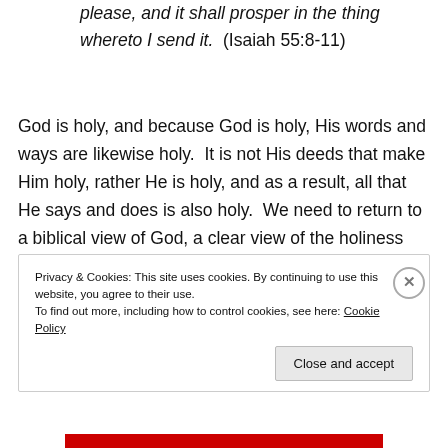please, and it shall prosper in the thing whereto I send it.  (Isaiah 55:8-11)
God is holy, and because God is holy, His words and ways are likewise holy.  It is not His deeds that make Him holy, rather He is holy, and as a result, all that He says and does is also holy.  We need to return to a biblical view of God, a clear view of the holiness and majesty of God.   And when we do, we will begin to see the move of God within our churches once more.
Privacy & Cookies: This site uses cookies. By continuing to use this website, you agree to their use.
To find out more, including how to control cookies, see here: Cookie Policy
Close and accept